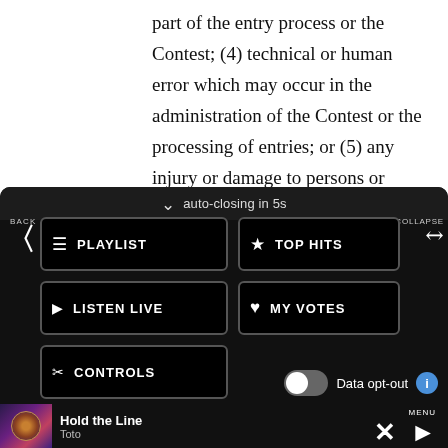part of the entry process or the Contest; (4) technical or human error which may occur in the administration of the Contest or the processing of entries; or (5) any injury or damage to persons or property which may be caused, directly or indirectly, in whole or in part, from
[Figure (screenshot): Dark navigation panel showing auto-closing in 5s with menu buttons: PLAYLIST, TOP HITS, LISTEN LIVE, MY VOTES, CONTROLS. Data opt-out toggle on right. Back arrow on left, Collapse button on right.]
[Figure (screenshot): Advertisement banner for Gracious Retirement Living with text 'Come Share Our Enthusiasm.' and orange VISIT NOW! call-to-action button.]
[Figure (screenshot): Now playing bar showing album art for Toto - Hold the Line, with MENU label, X close button and play button.]